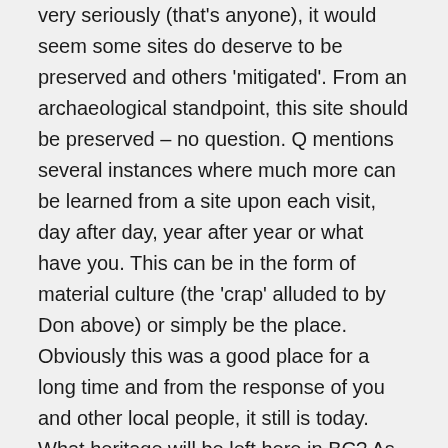very seriously (that's anyone), it would seem some sites do deserve to be preserved and others 'mitigated'. From an archaeological standpoint, this site should be preserved – no question. Q mentions several instances where much more can be learned from a site upon each visit, day after day, year after year or what have you. This can be in the form of material culture (the 'crap' alluded to by Don above) or simply be the place. Obviously this was a good place for a long time and from the response of you and other local people, it still is today. What heritage will be left here in BC? As part of the upcoming arch forum, I think I will take a visit to the site and see what all the fuss is about. Thanks.